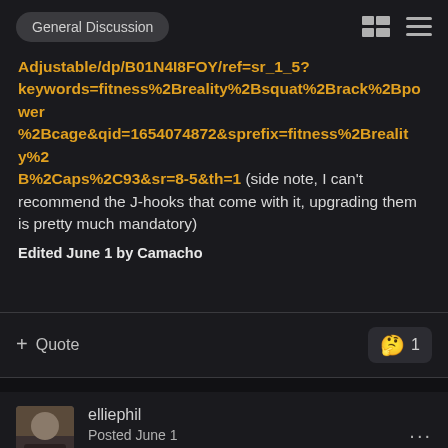General Discussion
Adjustable/dp/B01N4I8FOY/ref=sr_1_5?keywords=fitness%2Breality%2Bsquat%2Brack%2Bpower%2Bcage&qid=1654074872&sprefix=fitness%2Breality%2B%2Caps%2C93&sr=8-5&th=1 (side note, I can't recommend the J-hooks that come with it, upgrading them is pretty much mandatory)
Edited June 1 by Camacho
+ Quote  🤔 1
elliephil
Posted June 1